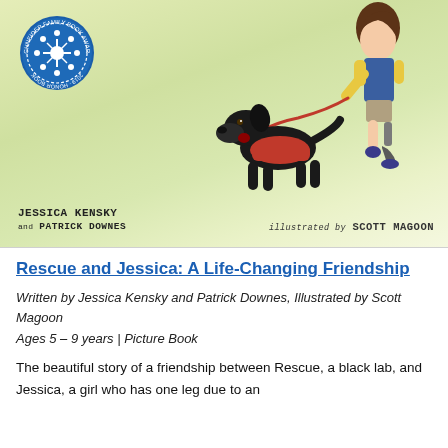[Figure (illustration): Book cover of 'Rescue and Jessica: A Life-Changing Friendship' showing a black Labrador service dog wearing a red vest with red leash, walking alongside a girl with a prosthetic leg. The background is a soft green/yellow watercolor. A blue Schneider Family Book Award medallion is in the upper left. Authors: Jessica Kensky and Patrick Downes, Illustrated by Scott Magoon.]
Rescue and Jessica: A Life-Changing Friendship
Written by Jessica Kensky and Patrick Downes, Illustrated by Scott Magoon
Ages 5 – 9 years | Picture Book
The beautiful story of a friendship between Rescue, a black lab, and Jessica, a girl who has one leg due to an